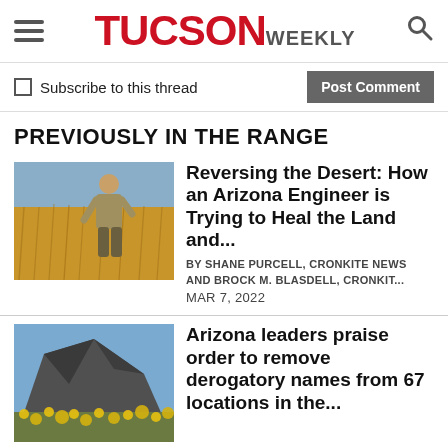TUCSON WEEKLY
Subscribe to this thread  Post Comment
PREVIOUSLY IN THE RANGE
[Figure (photo): Man standing in a field of golden dry grass, looking to the side, wearing a khaki shirt]
Reversing the Desert: How an Arizona Engineer is Trying to Heal the Land and...
BY SHANE PURCELL, CRONKITE NEWS AND BROCK M. BLASDELL, CRONKIT... MAR 7, 2022
[Figure (photo): Rocky mountain peak with yellow wildflowers in the foreground and blue sky behind]
Arizona leaders praise order to remove derogatory names from 67 locations in the...